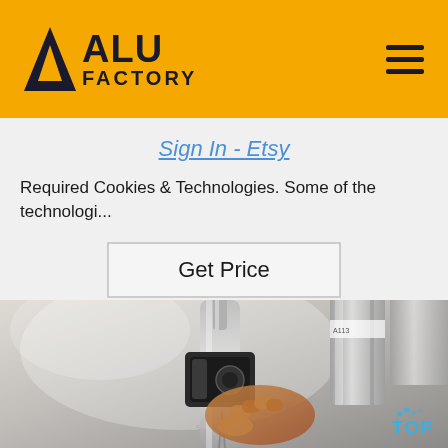ALU FACTORY
Sign In - Etsy
Required Cookies & Technologies. Some of the technologi...
Get Price
[Figure (photo): Close-up photo of a hand holding a drill or tool being applied to a metallic cylindrical surface, with industrial aluminum tubes in the background. A 'TOP' watermark with water droplet icons appears in the bottom right corner.]